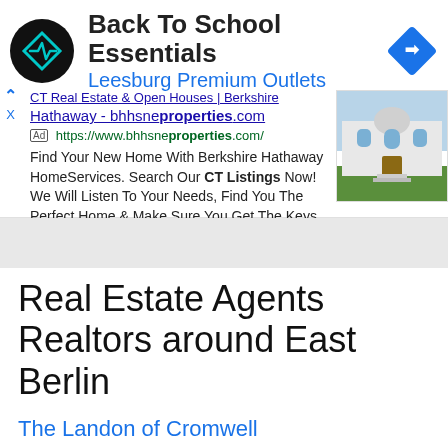[Figure (screenshot): Advertisement banner: Back To School Essentials at Leesburg Premium Outlets with a circular black logo and a blue diamond direction icon]
[Figure (screenshot): Google search ad for CT Real Estate & Open Houses | Berkshire Hathaway - bhhsneproperties.com with house photo]
Real Estate Agents Realtors around East Berlin
The Landon of Cromwell
150 Country Squire Drive